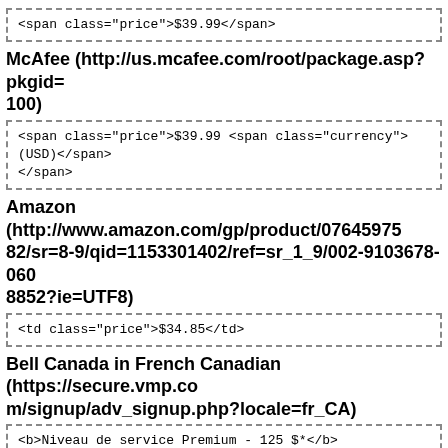<span class="price">$39.99</span>
McAfee (http://us.mcafee.com/root/package.asp?pkgid=100)
<span class="price">$39.99 <span class="currency">(USD)</span></span>
Amazon (http://www.amazon.com/gp/product/0764597582/sr=8-9/qid=1153301402/ref=sr_1_9/002-9103678-0608852?ie=UTF8)
<td class="price">$34.85</td>
Bell Canada in French Canadian (https://secure.vmp.com/signup/adv_signup.php?locale=fr_CA)
<b>Niveau de service Premium - 125 $*</b>